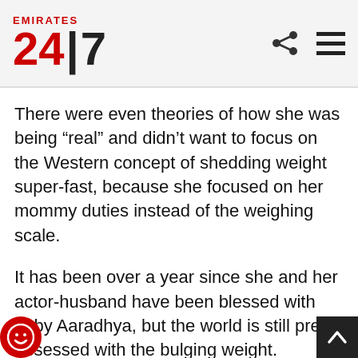Emirates 24|7
There were even theories of how she was being “real” and didn’t want to focus on the Western concept of shedding weight super-fast, because she focused on her mommy duties instead of the weighing scale.
It has been over a year since she and her actor-husband have been blessed with baby Aaradhya, but the world is still pretty obsessed with the bulging weight.
More so, because Ash, herself, hasn’t been able to accept her new body.